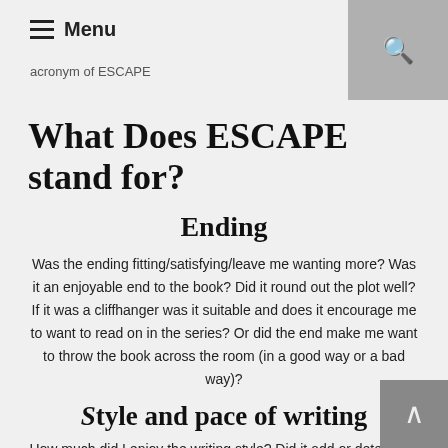Menu
acronym of ESCAPE
What Does ESCAPE stand for?
Ending
Was the ending fitting/satisfying/leave me wanting more? Was it an enjoyable end to the book? Did it round out the plot well? If it was a cliffhanger was it suitable and does it encourage me to want to read on in the series? Or did the end make me want to throw the book across the room (in a good way or a bad way)?
Style and pace of writing
How much did I enjoy the writing style? Did it add or deter from